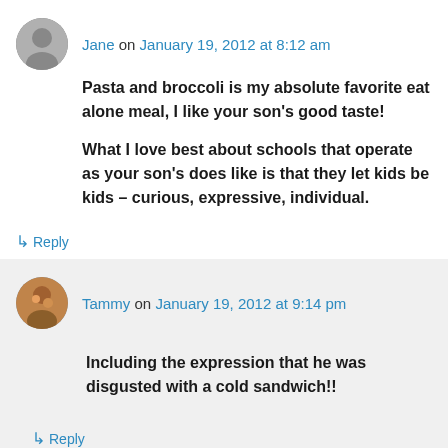Jane on January 19, 2012 at 8:12 am
Pasta and broccoli is my absolute favorite eat alone meal, I like your son’s good taste!

What I love best about schools that operate as your son’s does like is that they let kids be kids – curious, expressive, individual.
↳ Reply
Tammy on January 19, 2012 at 9:14 pm
Including the expression that he was disgusted with a cold sandwich!!
↳ Reply